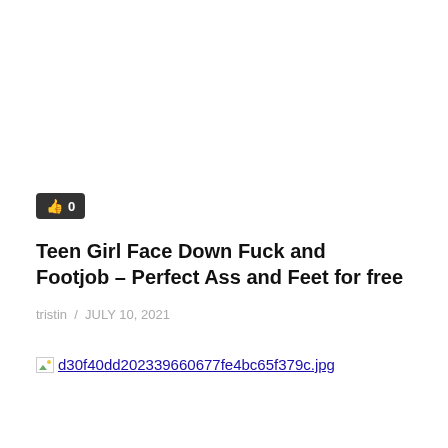[Figure (other): Like button showing thumbs up icon and count 0, dark background]
Teen Girl Face Down Fuck and Footjob – Perfect Ass and Feet for free
tristin  /  JULY 10, 2021
d30f40dd202339660677fe4bc65f379c.jpg